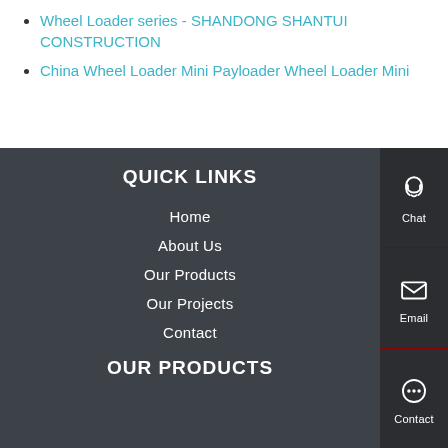Wheel Loader series - SHANDONG SHANTUI CONSTRUCTION
China Wheel Loader Mini Payloader Wheel Loader Mini
QUICK LINKS
Home
About Us
Our Products
Our Projects
Contact
OUR PRODUCTS